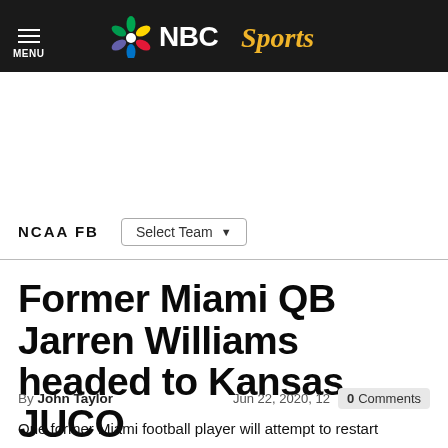NBC Sports
NCAA FB
Former Miami QB Jarren Williams headed to Kansas JUCO
By John Taylor   Jun 22, 2020, 12   0 Comments
One former Miami football player will attempt to restart